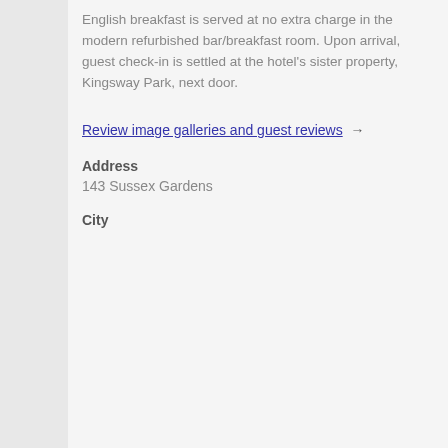English breakfast is served at no extra charge in the modern refurbished bar/breakfast room. Upon arrival, guest check-in is settled at the hotel's sister property, Kingsway Park, next door.
Review image galleries and guest reviews →
Address
143 Sussex Gardens
City